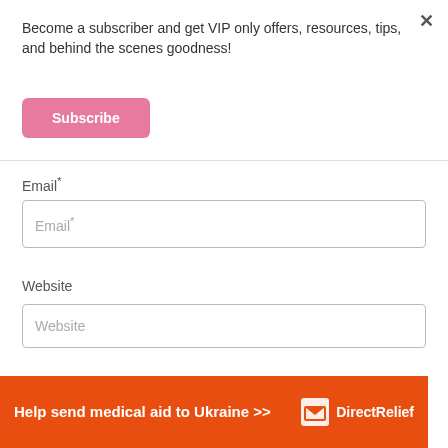Become a subscriber and get VIP only offers, resources, tips, and behind the scenes goodness!
Subscribe
Email*
Email*
Website
Website
POST COMMENT
Help send medical aid to Ukraine >>
[Figure (logo): Direct Relief logo with white box icon]